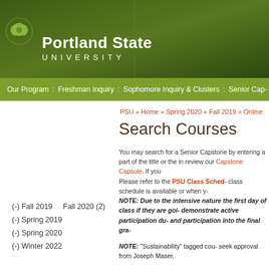[Figure (logo): Portland State University logo with green background header]
Our Program : Freshman Inquiry : Sophomore Inquiry & Clusters : Senior Cap-
PSU » Home » Spring 2020 » Fall 2019 » Online
Search Courses
You may search for a Senior Capstone by entering a part of the title or the ins- review our Capstone Capsule. If you
Please refer to the PSU Class Sched- class schedule is available or when y-
NOTE:  Due to the intensive nature the first day of class if they are goi- demonstrate active participation du- and participation into the final gra-
NOTE:  "Sustainability" tagged cou- seek approval from Joseph Maser,
(-) Fall 2019
(-) Spring 2019
(-) Spring 2020
(-) Winter 2022
Fall 2020 (2)
Fall 2021 (2)
Fall 2022 (2)
Spring 2018 (2)
Spring 2021 (2)
Spring 2022 (2)
Summer 2018 (2)
Summer 2019 (2)
Summer 2020 (2)